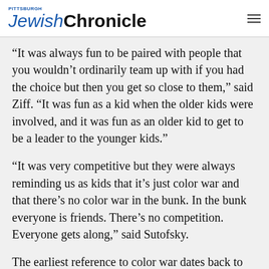Pittsburgh Jewish Chronicle
“It was always fun to be paired with people that you wouldn’t ordinarily team up with if you had the choice but then you get so close to them,” said Ziff. “It was fun as a kid when the older kids were involved, and it was fun as an older kid to get to be a leader to the younger kids.”
“It was very competitive but they were always reminding us as kids that it’s just color war and that there’s no color war in the bunk. In the bunk everyone is friends. There’s no competition. Everyone gets along,” said Sutofsky.
The earliest reference to color war dates back to 1916 at Schroon Lake Camp, a Jewish boys’ camp in